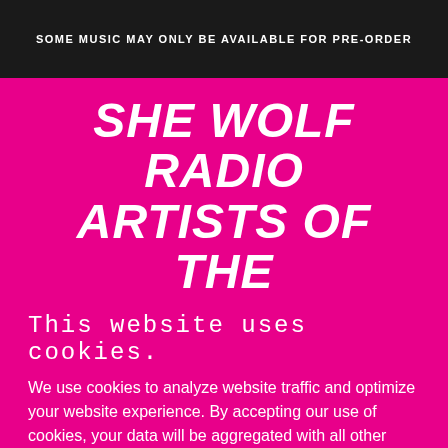SOME MUSIC MAY ONLY BE AVAILABLE FOR PRE-ORDER
SHE WOLF RADIO ARTISTS OF THE
This website uses cookies.
We use cookies to analyze website traffic and optimize your website experience. By accepting our use of cookies, your data will be aggregated with all other user data.
Accept